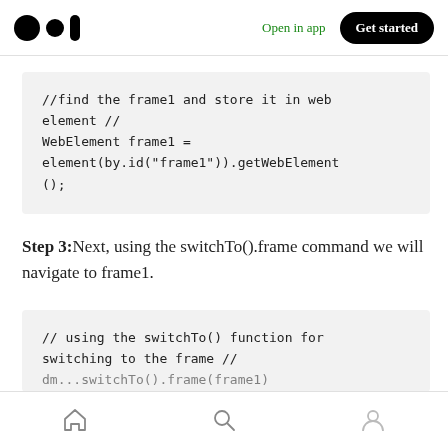[Figure (screenshot): Medium app header with logo, Open in app link, and Get started button]
//find the frame1 and store it in web element //
WebElement frame1 =
element(by.id("frame1")).getWebElement
();
Step 3:Next, using the switchTo().frame command we will navigate to frame1.
// using the switchTo() function for
switching to the frame //
dm...switchTo().frame(frame1)